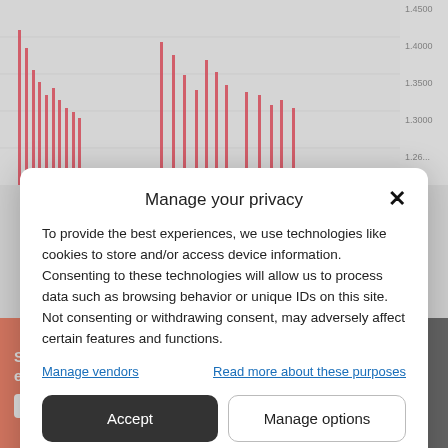[Figure (screenshot): Partial financial chart visible behind modal with red candlestick/bar data and y-axis labels 1.3000, 1.3500, 1.4000, 1.4500]
Manage your privacy
To provide the best experiences, we use technologies like cookies to store and/or access device information. Consenting to these technologies will allow us to process data such as browsing behavior or unique IDs on this site. Not consenting or withdrawing consent, may adversely affect certain features and functions.
Manage vendors | Read more about these purposes
Accept | Manage options
Cookie Policy  Privacy Statement
[Figure (screenshot): DuckDuckGo advertisement: orange left panel with text 'Search, browse, and email with more privacy. All in One Free App', dark right panel with DuckDuckGo logo]